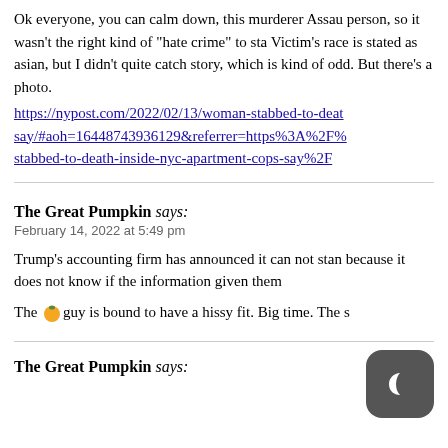Ok everyone, you can calm down, this murderer Assault person, so it wasn't the right kind of "hate crime" to sta Victim's race is stated as asian, but I didn't quite catch story, which is kind of odd. But there's a photo.
https://nypost.com/2022/02/13/woman-stabbed-to-deat say/#aoh=16448743936129&referrer=https%3A%2F% stabbed-to-death-inside-nyc-apartment-cops-say%2F
The Great Pumpkin says:
February 14, 2022 at 5:49 pm
Trump's accounting firm has announced it can not stan because it does not know if the information given them
The 🟠 guy is bound to have a hissy fit. Big time. The s
The Great Pumpkin says: